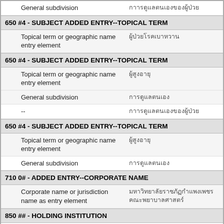| General subdivision | กาารดูแลตนเองของผู้ป่วย |
| 650 #4 - SUBJECT ADDED ENTRY--TOPICAL TERM |  |
| Topical term or geographic name entry element | ผู้ป่วยโรคเบาหวาน |
| 650 #4 - SUBJECT ADDED ENTRY--TOPICAL TERM |  |
| Topical term or geographic name entry element | ผู้สูงอายุ |
| General subdivision | การดูแลตนเอง |
| -- | กาารดูแลตนเองของผู้ป่วย |
| 650 #4 - SUBJECT ADDED ENTRY--TOPICAL TERM |  |
| Topical term or geographic name entry element | ผู้สูงอายุ |
| General subdivision | การดูแลตนเอง |
| 710 0# - ADDED ENTRY--CORPORATE NAME |  |
| Corporate name or jurisdiction name as entry element | มหาวิทยาลัยราชภัฏกำแพงเพชร คณะพยาบาลศาสตร์ |
| 850 ## - HOLDING INSTITUTION |  |
| Holding institution | Kuakarun Nursing Library |